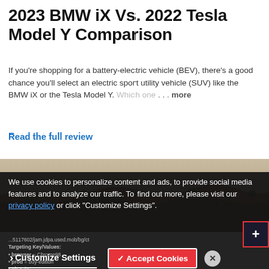2023 BMW iX Vs. 2022 Tesla Model Y Comparison
If you're shopping for a battery-electric vehicle (BEV), there's a good chance you'll select an electric sport utility vehicle (SUV) like the BMW iX or the Tesla Model Y. Which one . . . more
Read the full review
[Figure (photo): Landscape photo showing dry scrubland terrain with brown earth and sparse low vegetation]
We use cookies to personalize content and ads, to provide social media features and to analyze our traffic. To find out more, please visit our privacy policy or click "Customize Settings".
Targeting Key/Values:
• browser = ...
• prod = buy-edition
• nb = ths...